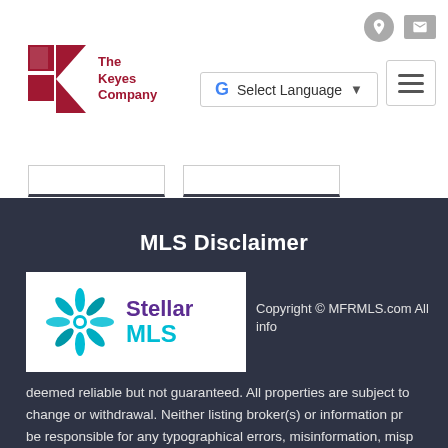[Figure (logo): The Keyes Company logo — red K with company name]
[Figure (screenshot): Google Translate Select Language widget]
[Figure (other): Hamburger menu button (three horizontal lines)]
MLS Disclaimer
[Figure (logo): Stellar MLS logo — teal/blue star graphic with StellarMLS text]
Copyright © MFRMLS.com All info deemed reliable but not guaranteed. All properties are subject to change or withdrawal. Neither listing broker(s) or information provider(s) shall be responsible for any typographical errors, misinformation, misprints and shall be held totally harmless. Listing(s) information is provided for consumers personal, non-commercial use and may not be used for any purpose other than to identify prospective properties consumers may be interested in purchasing. Information on this site was last updated Last updated on September 5:35 AM UTC The listing information on this page last changed on